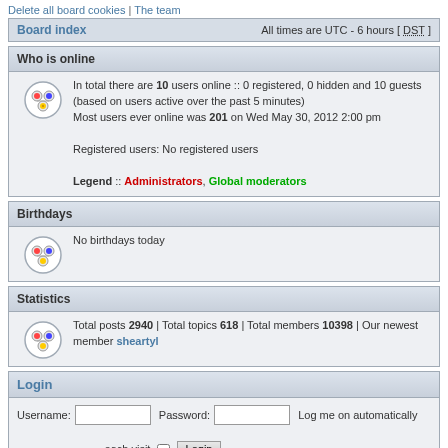Delete all board cookies | The team
Board index  All times are UTC - 6 hours [ DST ]
Who is online
In total there are 10 users online :: 0 registered, 0 hidden and 10 guests (based on users active over the past 5 minutes) Most users ever online was 201 on Wed May 30, 2012 2:00 pm Registered users: No registered users Legend :: Administrators, Global moderators
Birthdays
No birthdays today
Statistics
Total posts 2940 | Total topics 618 | Total members 10398 | Our newest member sheartyl
Login
Username: [input] Password: [input] Log me on automatically each visit [checkbox] Login
New posts  No new posts  Forum locked